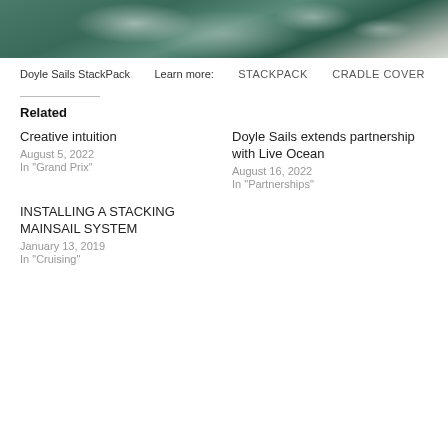[Figure (photo): Ocean water surface with white foam/waves, green-blue color]
Doyle Sails StackPack
Learn more:
STACKPACK
CRADLE COVER
Related
Creative intuition
August 5, 2022
In "Grand Prix"
Doyle Sails extends partnership with Live Ocean
August 16, 2022
In "Partnerships"
INSTALLING A STACKING MAINSAIL SYSTEM
January 13, 2019
In "Cruising"